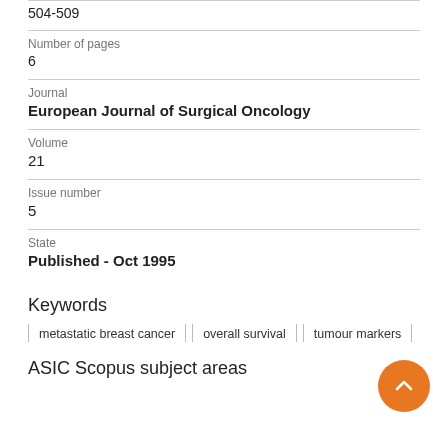504-509
Number of pages
6
Journal
European Journal of Surgical Oncology
Volume
21
Issue number
5
State
Published - Oct 1995
Keywords
metastatic breast cancer
overall survival
tumour markers
ASIC Scopus subject areas